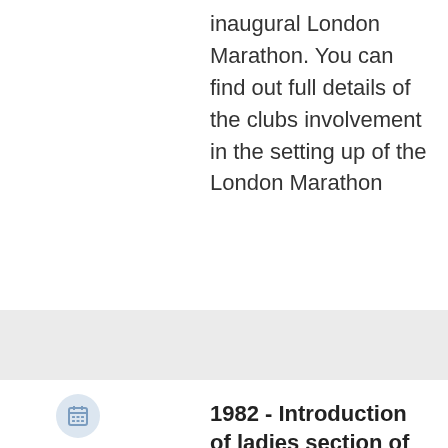inaugural London Marathon. You can find out full details of the clubs involvement in the setting up of the London Marathon
1982 - Introduction of ladies section of the club
It seems astonishing today but it wasn't until 14th July 1982 at the AGM a motion was passed to introduce a Ladies Section to the club. For context it is important to remember that before the London Marathon it was extremely rare for